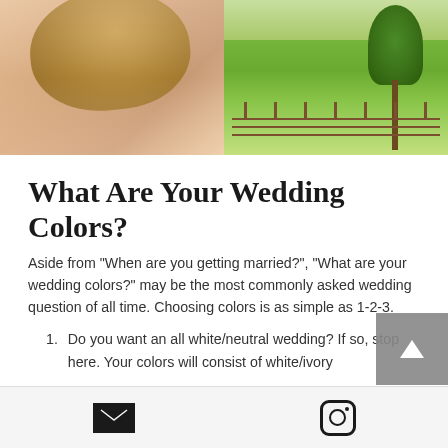[Figure (photo): Two photos side by side: left shows back of blonde woman's head with braided updo hairstyle; right shows green pastoral landscape with large tree and wooden fence]
What Are Your Wedding Colors?
Aside from "When are you getting married?", "What are your wedding colors?" may be the most commonly asked wedding question of all time. Choosing colors is as simple as 1-2-3.
Do you want an all white/neutral wedding? If so, stop here. Your colors will consist of white/ivory
[email icon] [instagram icon]